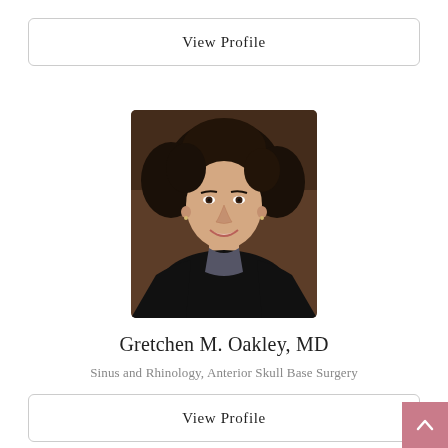View Profile
[Figure (photo): Professional headshot of Gretchen M. Oakley, MD. A woman with dark curly hair, smiling, wearing a dark blazer, photographed against a warm brown background.]
Gretchen M. Oakley, MD
Sinus and Rhinology, Anterior Skull Base Surgery
View Profile